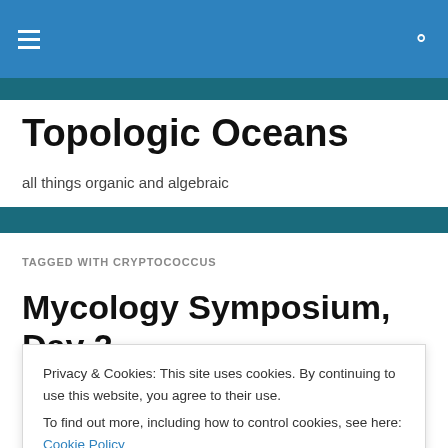Topologic Oceans [navigation bar with hamburger menu and search icon]
Topologic Oceans
all things organic and algebraic
TAGGED WITH CRYPTOCOCCUS
Mycology Symposium, Day 2
Day 2 of the Duke Mycology Symposium has wound to a
Privacy & Cookies: This site uses cookies. By continuing to use this website, you agree to their use.
To find out more, including how to control cookies, see here: Cookie Policy
Cryptococcosis pandemic: Any change what's coming?